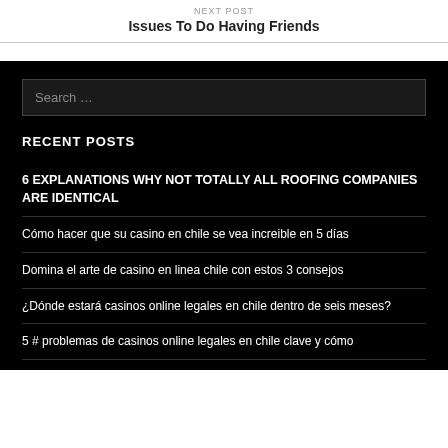NEXT POST
Issues To Do Having Friends
Search …
RECENT POSTS
6 EXPLANATIONS WHY NOT TOTALLY ALL ROOFING COMPANIES ARE IDENTICAL
Cómo hacer que su casino en chile se vea increible en 5 días
Domina el arte de casino en linea chile con estos 3 consejos
¿Dónde estará casinos online legales en chile dentro de seis meses?
5 # problemas de casinos online legales en chile clave y cómo